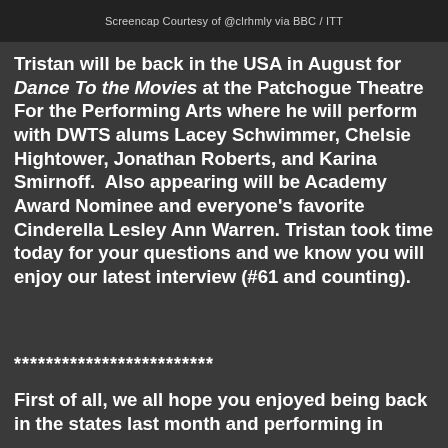Screencap Courtesy of @clrhmly via BBC / ITT
Tristan will be back in the USA in August for Dance To the Movies at the Patchogue Theatre For the Performing Arts where he will perform with DWTS alums Lacey Schwimmer, Chelsie Hightower, Jonathan Roberts, and Karina Smirnoff.  Also appearing will be Academy Award Nominee and everyone's favorite Cinderella Lesley Ann Warren. Tristan took time today for your questions and we know you will enjoy our latest interview (#61 and counting).
*************************
First of all, we all hope you enjoyed being back in the states last month and performing in